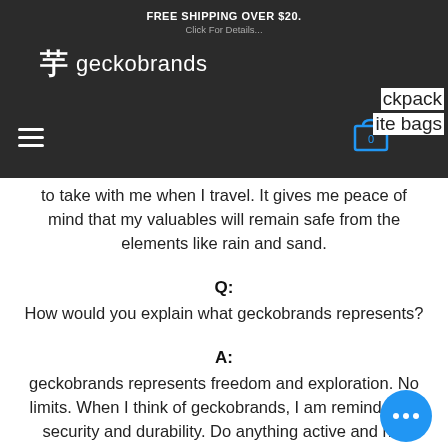FREE SHIPPING OVER $20. Click For Details. geckobrands
to take with me when I travel. It gives me peace of mind that my valuables will remain safe from the elements like rain and sand.
Q:
How would you explain what geckobrands represents?
A:
geckobrands represents freedom and exploration. No limits. When I think of geckobrands, I am reminded of security and durability. Do anything active and not have to worry about your valuables.
Q: